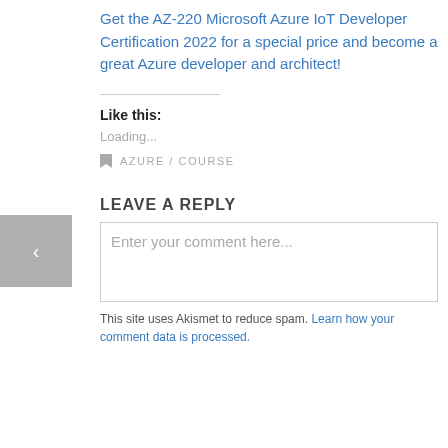Get the AZ-220 Microsoft Azure IoT Developer Certification 2022 for a special price and become a great Azure developer and architect!
Like this:
Loading...
AZURE / COURSE
LEAVE A REPLY
Enter your comment here...
This site uses Akismet to reduce spam. Learn how your comment data is processed.